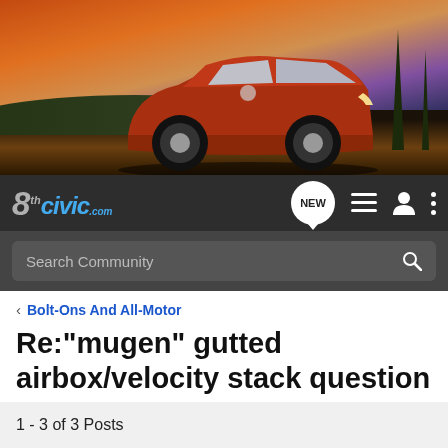[Figure (photo): Banner photo of a red Honda Civic sedan driving on a road with a scenic sunset background and trees/hills in the distance]
8thcivic.com — navigation bar with NEW, list, user, and menu icons, and Search Community search bar
< Bolt-Ons And All-Motor
Re:"mugen" gutted airbox/velocity stack question
→ Jump to Latest   + Follow
1 - 3 of 3 Posts